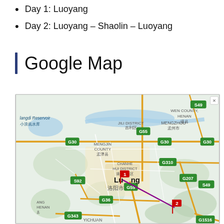Day 1: Luoyang
Day 2: Luoyang – Shaolin – Luoyang
Google Map
[Figure (map): Google Map showing Luoyang area in Henan, China, with a purple line connecting two markers (1 at Luoyang city and 2 southeast near Shaolin area). Map shows roads G30, G55, G310, G207, G36, G343, S49, S92, G1516, districts including Mengjin County, Chanhe Hui District, Jili District, Mengzhou, Wen County Henan, and geographic features including Xiaolanqdi Reservoir. Yichuan visible at bottom.]